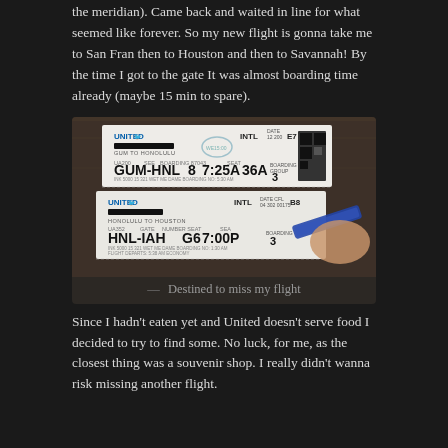the meridian). Came back and waited in line for what seemed like forever. So my new flight is gonna take me to San Fran then to Houston and then to Savannah! By the time I got to the gate It was almost boarding time already (maybe 15 min to spare).
[Figure (photo): Two United Airlines boarding passes on a wooden table. Top boarding pass: GUM to HNL (Guam to Honolulu), flight UA200, seat 8, time 7:25A, seat 36A, boarding group 3. Bottom boarding pass: HNL to IAH (Honolulu to Houston), flight UA352, gate G6, time 7:00P, group 3. A hand holding a blue pen is visible at the right. Caption reads '— Destined to miss my flight'.]
— Destined to miss my flight
Since I hadn't eaten yet and United doesn't serve food I decided to try to find some. No luck, for me, as the closest thing was a souvenir shop. I really didn't wanna risk missing another flight.